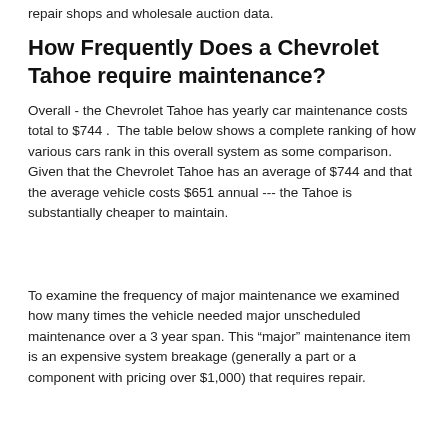repair shops and wholesale auction data.
How Frequently Does a Chevrolet Tahoe require maintenance?
Overall - the Chevrolet Tahoe has yearly car maintenance costs total to $744 .  The table below shows a complete ranking of how various cars rank in this overall system as some comparison. Given that the Chevrolet Tahoe has an average of $744 and that the average vehicle costs $651 annual --- the Tahoe is substantially cheaper to maintain.
To examine the frequency of major maintenance we examined how many times the vehicle needed major unscheduled maintenance over a 3 year span. This “major” maintenance item is an expensive system breakage (generally a part or a component with pricing over $1,000) that requires repair.